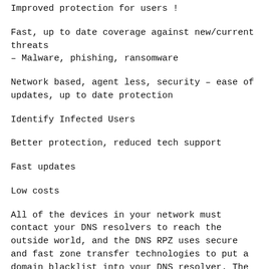Improved protection for users !
Fast, up to date coverage against new/current threats – Malware, phishing, ransomware
Network based, agent less, security – ease of updates, up to date protection
Identify Infected Users
Better protection, reduced tech support
Fast updates
Low costs
All of the devices in your network must contact your DNS resolvers to reach the outside world, and the DNS RPZ uses secure and fast zone transfer technologies to put a domain blacklist into your DNS resolver. The data on this list is